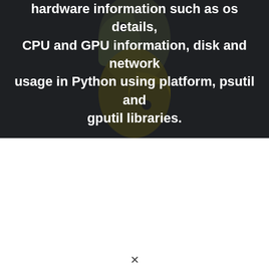[Figure (illustration): Dark background section with Python logo (two intertwined snakes) visible as a faded olive/dark watermark behind white centered text about getting hardware information in Python.]
hardware information such as os details, CPU and GPU information, disk and network usage in Python using platform, psutil and gputil libraries.